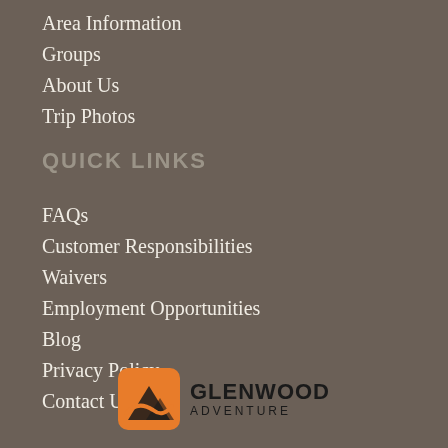Area Information
Groups
About Us
Trip Photos
QUICK LINKS
FAQs
Customer Responsibilities
Waivers
Employment Opportunities
Blog
Privacy Policy
Contact Us
[Figure (logo): Glenwood Adventure logo with orange mountain/road icon and bold text GLENWOOD ADVENTURE]